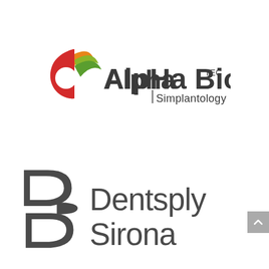[Figure (logo): Alpha Bio Tec Simplantology logo with colorful swirl icon and dark grey text]
[Figure (logo): Dentsply Sirona logo with dark grey stylized S/D icon and dark grey text]